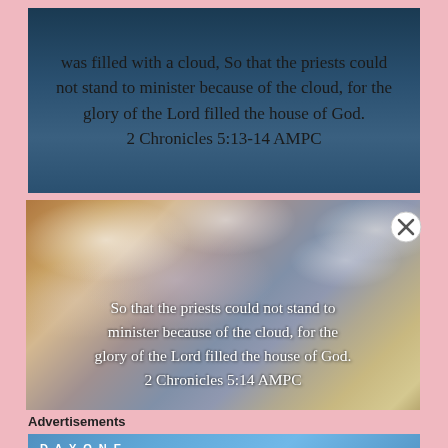[Figure (photo): Dark teal/blue background image with centered black text containing Bible verse from 2 Chronicles 5:13-14 AMPC about the house being filled with a cloud]
was filled with a cloud, So that the priests could not stand to minister because of the cloud, for the glory of the Lord filled the house of God. 2 Chronicles 5:13-14 AMPC
[Figure (photo): Cloud sky photograph with white text overlay containing Bible verse from 2 Chronicles 5:14 AMPC]
So that the priests could not stand to minister because of the cloud, for the glory of the Lord filled the house of God. 2 Chronicles 5:14 AMPC
Advertisements
[Figure (screenshot): Day One journaling app advertisement banner with blue gradient background, app icons, and text 'The only journaling app you'll ever need.']